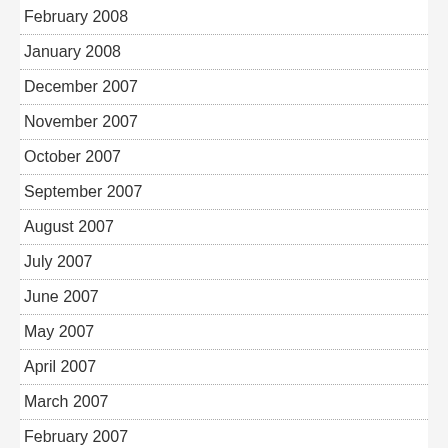February 2008
January 2008
December 2007
November 2007
October 2007
September 2007
August 2007
July 2007
June 2007
May 2007
April 2007
March 2007
February 2007